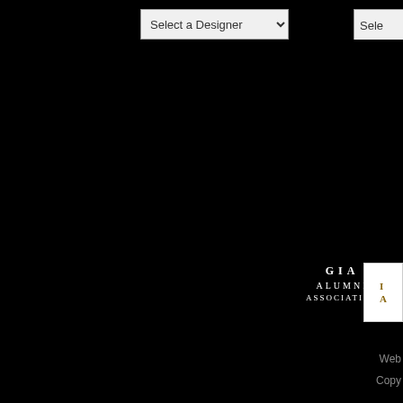[Figure (screenshot): Dropdown selector labeled 'Select a Designer' with a chevron icon, on a black background]
[Figure (logo): GIA Alumni Association logo in white serif text on black background]
[Figure (logo): Partial logo with gold/brown text on white background, partially cropped]
View:
|Shopping Bag| |Wish List| |Contact Us| |We Buy Gold & C...
|Designers| |Diamonds| |Gemstones|
Web...
Copy...